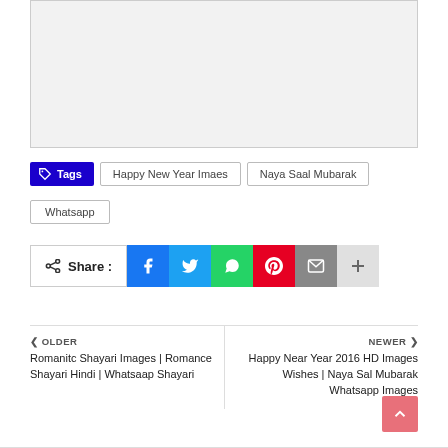[Figure (other): Gray placeholder image box]
Tags   Happy New Year Imaes   Naya Saal Mubarak   Whatsapp
Share :  [Facebook] [Twitter] [Whatsapp] [Pinterest] [Email] [+]
OLDER
Romanitc Shayari Images | Romance Shayari Hindi | Whatsaap Shayari
NEWER
Happy Near Year 2016 HD Images Wishes | Naya Sal Mubarak Whatsapp Images